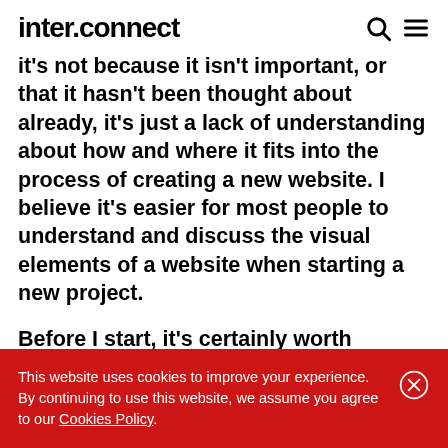inter.connect
it's not because it isn't important, or that it hasn't been thought about already, it's just a lack of understanding about how and where it fits into the process of creating a new website. I believe it's easier for most people to understand and discuss the visual elements of a website when starting a new project.

Before I start, it's certainly worth emphasising at this point that content
This website uses cookies to improve your experience. By continuing to use this website, we assume you agree to our Cookies Policy.